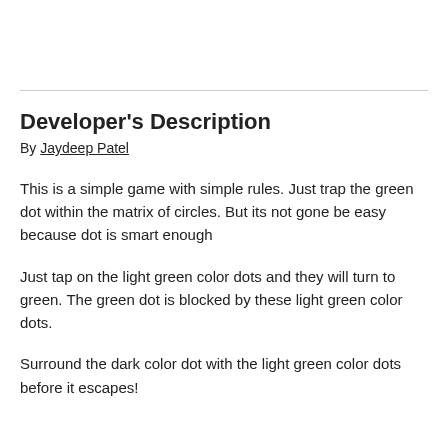Developer's Description
By Jaydeep Patel
This is a simple game with simple rules. Just trap the green dot within the matrix of circles. But its not gone be easy because dot is smart enough
Just tap on the light green color dots and they will turn to green. The green dot is blocked by these light green color dots.
Surround the dark color dot with the light green color dots before it escapes!